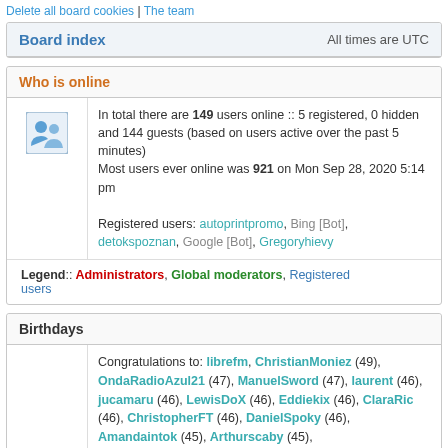Delete all board cookies | The team
Board index | All times are UTC
Who is online
In total there are 149 users online :: 5 registered, 0 hidden and 144 guests (based on users active over the past 5 minutes)
Most users ever online was 921 on Mon Sep 28, 2020 5:14 pm
Registered users: autoprintpromo, Bing [Bot], detokspoznan, Google [Bot], Gregoryhievy
Legend :: Administrators, Global moderators, Registered users
Birthdays
Congratulations to: librefm, ChristianMoniez (49), OndaRadioAzul21 (47), ManuelSword (47), laurent (46), jucamaru (46), LewisDoX (46), Eddiekix (46), ClaraRic (46), ChristopherFT (46), DanielSpoky (46), Amandaintok (45), Arthurscaby (45),